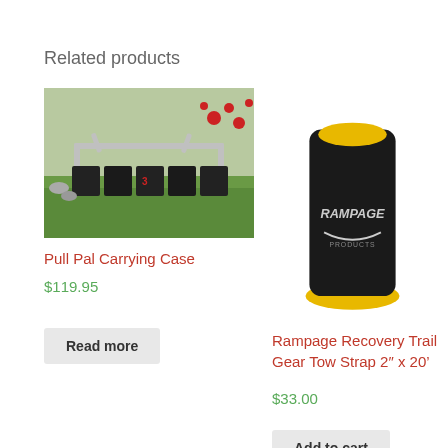Related products
[Figure (photo): Pull Pal carrying case laid out on grass with metal frame and black fabric panels]
Pull Pal Carrying Case
$119.95
Read more
[Figure (photo): Rampage Recovery Trail Gear Tow Strap bundled with black strap holder and yellow strap visible]
Rampage Recovery Trail Gear Tow Strap 2" x 20'
$33.00
Add to cart